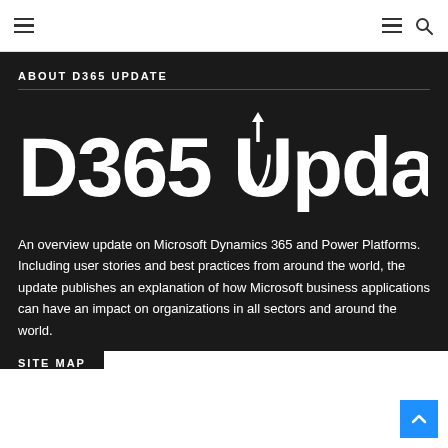Navigation bar with hamburger menu icons and search icon
ABOUT D365 UPDATE
[Figure (logo): D365 Update logo in white text on dark background, with a stylized upward arrow incorporated into the letter U]
An overview update on Microsoft Dynamics 365 and Power Platforms. Including user stories and best practices from around the world, the update publishes an explanation of how Microsoft business applications can have an impact on organizations in all sectors and around the world.
SITE MAP